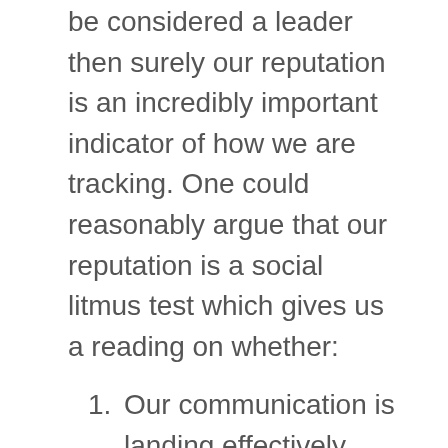be considered a leader then surely our reputation is an incredibly important indicator of how we are tracking. One could reasonably argue that our reputation is a social litmus test which gives us a reading on whether:
Our communication is landing effectively with others
People align with our values and intent
Our teams want to work for, and with us